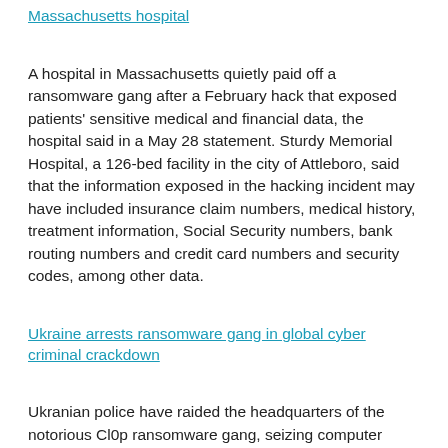Massachusetts hospital
A hospital in Massachusetts quietly paid off a ransomware gang after a February hack that exposed patients' sensitive medical and financial data, the hospital said in a May 28 statement. Sturdy Memorial Hospital, a 126-bed facility in the city of Attleboro, said that the information exposed in the hacking incident may have included insurance claim numbers, medical history, treatment information, Social Security numbers, bank routing numbers and credit card numbers and security codes, among other data.
Ukraine arrests ransomware gang in global cyber criminal crackdown
Ukranian police have raided the headquarters of the notorious Cl0p ransomware gang, seizing computer hardware used in its operations along with the equivalent of $184,000, which is most likely ...